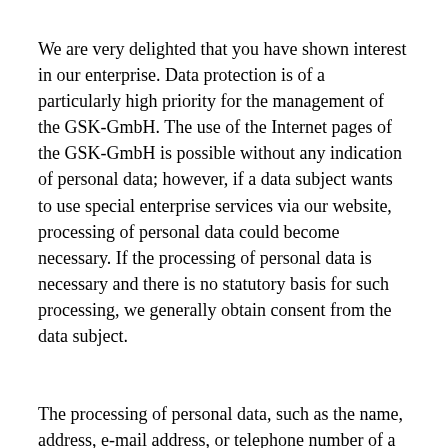We are very delighted that you have shown interest in our enterprise. Data protection is of a particularly high priority for the management of the GSK-GmbH. The use of the Internet pages of the GSK-GmbH is possible without any indication of personal data; however, if a data subject wants to use special enterprise services via our website, processing of personal data could become necessary. If the processing of personal data is necessary and there is no statutory basis for such processing, we generally obtain consent from the data subject.
The processing of personal data, such as the name, address, e-mail address, or telephone number of a data subject shall always be in line with the General...